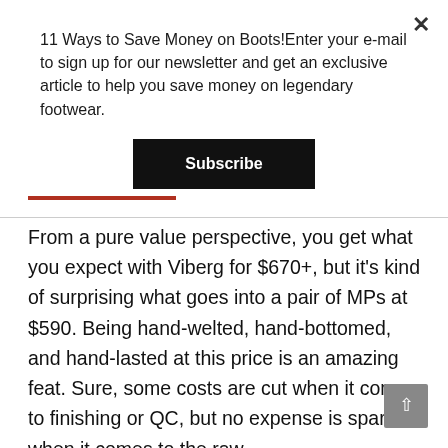11 Ways to Save Money on Boots!Enter your e-mail to sign up for our newsletter and get an exclusive article to help you save money on legendary footwear.
[Figure (other): Subscribe button — black rectangle with white bold text 'Subscribe']
From a pure value perspective, you get what you expect with Viberg for $670+, but it's kind of surprising what goes into a pair of MPs at $590. Being hand-welted, hand-bottomed, and hand-lasted at this price is an amazing feat. Sure, some costs are cut when it comes to finishing or QC, but no expense is spared when it comes to the raw